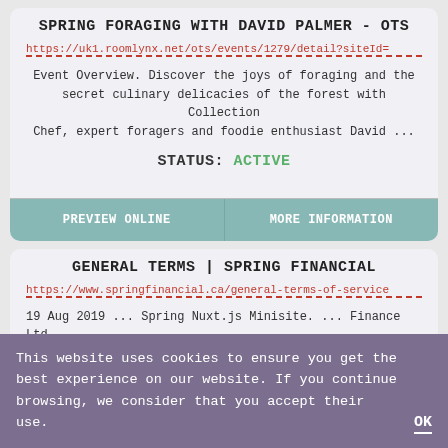SPRING FORAGING WITH DAVID PALMER - OTS
https://uk1.roomlynx.net/ots/events/1279/detail?siteId=
Event Overview. Discover the joys of foraging and the secret culinary delicacies of the forest with Collection Chef, expert foragers and foodie enthusiast David ...
STATUS: ACTIVE
PREVIEW ONLINE
MORE INFORMATION
GENERAL TERMS | SPRING FINANCIAL
https://www.springfinancial.ca/general-terms-of-service
19 Aug 2019 ... Spring Nuxt.js Minisite. ... Finance Ltd.,
This website uses cookies to ensure you get the best experience on our website. If you continue browsing, we consider that you accept their use.